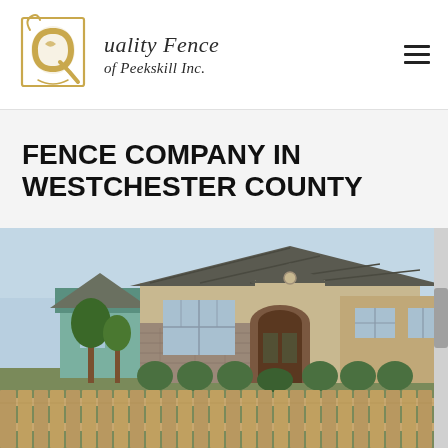[Figure (logo): Quality Fence of Peekskill Inc. logo — decorative Q monogram in gold with ornamental border, next to italic serif text reading 'uality Fence of Peekskill Inc.']
FENCE COMPANY IN WESTCHESTER COUNTY
[Figure (photo): Photograph of a residential home with a wooden fence in the foreground, brick and stucco exterior, arched entryway, and landscaped shrubs]